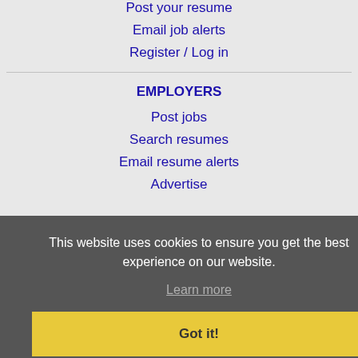Post your resume
Email job alerts
Register / Log in
EMPLOYERS
Post jobs
Search resumes
Email resume alerts
Advertise
This website uses cookies to ensure you get the best experience on our website.
Learn more
Got it!